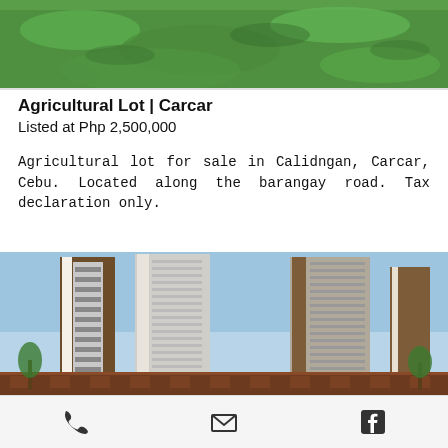[Figure (photo): Green grassy agricultural lot field photo at top of page]
Agricultural Lot | Carcar
Listed at Php 2,500,000
Agricultural lot for sale in Calidngan, Carcar, Cebu. Located along the barangay road. Tax declaration only.
[Figure (photo): Tall condominium towers of Casa Mira Towers Labangon in Cebu City with brown podium]
Casa Mira Towers Labangon | Cebu City
Listed at Php 4,800,000
Condo with beautiful city and SRP view. This one-bedroom condo with balcony located at the 20th floor of tower 2 Casa
Phone | Email | Facebook